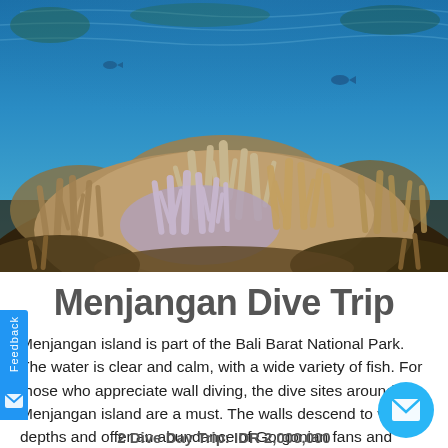[Figure (photo): Underwater photograph of a coral reef at Menjangan island, showing colorful corals and tropical fish, taken from below the surface with blue water visible above.]
Menjangan Dive Trip
Menjangan island is part of the Bali Barat National Park. The water is clear and calm, with a wide variety of fish. For those who appreciate wall diving, the dive sites around Menjangan island are a must. The walls descend to varying depths and offer an abundance of Gorgonian fans and colourful reefs. Fringing the island are shallow reefs with beautiful corals
2 Dive Day Trip: IDR 2,000,000